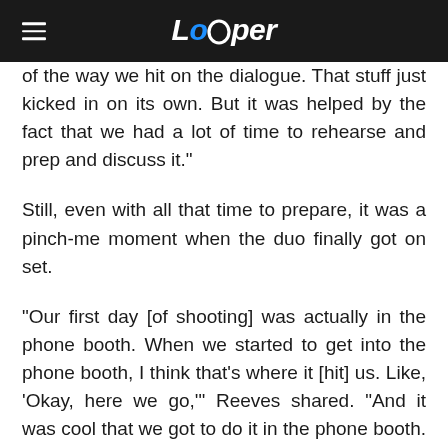Looper
of the way we hit on the dialogue. That stuff just kicked in on its own. But it was helped by the fact that we had a lot of time to rehearse and prep and discuss it."
Still, even with all that time to prepare, it was a pinch-me moment when the duo finally got on set.
"Our first day [of shooting] was actually in the phone booth. When we started to get into the phone booth, I think that's where it [hit] us. Like, 'Okay, here we go,'" Reeves shared. "And it was cool that we got to do it in the phone booth. That was like a touchstone."